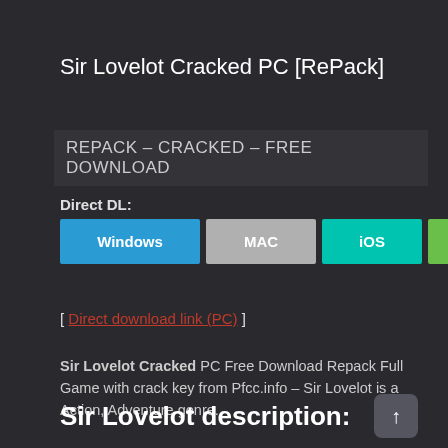Sir Lovelot Cracked PC [RePack]
REPACK – CRACKED – FREE DOWNLOAD
Direct DL:
[Figure (other): Download buttons for Windows, MAC, iOS, Android]
[ Direct download link (PC) ]
Sir Lovelot Cracked PC Free Download Repack Full Game with crack key from Pfcc.info – Sir Lovelot is a Action, Adventure genre.
Sir Lovelot description: